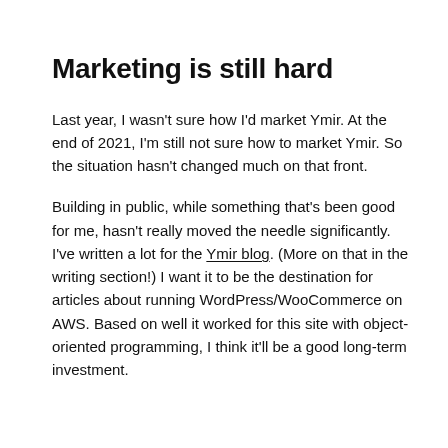Marketing is still hard
Last year, I wasn't sure how I'd market Ymir. At the end of 2021, I'm still not sure how to market Ymir. So the situation hasn't changed much on that front.
Building in public, while something that's been good for me, hasn't really moved the needle significantly. I've written a lot for the Ymir blog. (More on that in the writing section!) I want it to be the destination for articles about running WordPress/WooCommerce on AWS. Based on well it worked for this site with object-oriented programming, I think it'll be a good long-term investment.